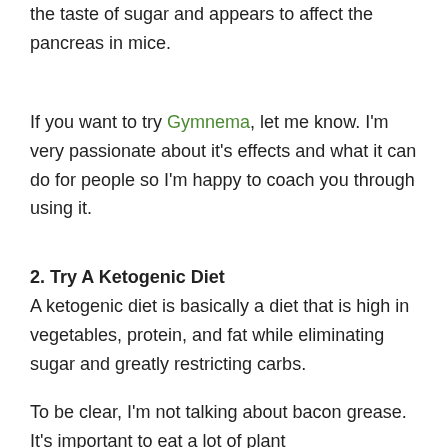the taste of sugar and appears to affect the pancreas in mice.
If you want to try Gymnema, let me know. I'm very passionate about it's effects and what it can do for people so I'm happy to coach you through using it.
2. Try A Ketogenic Diet
A ketogenic diet is basically a diet that is high in vegetables, protein, and fat while eliminating sugar and greatly restricting carbs.
To be clear, I'm not talking about bacon grease. It's important to eat a lot of plant